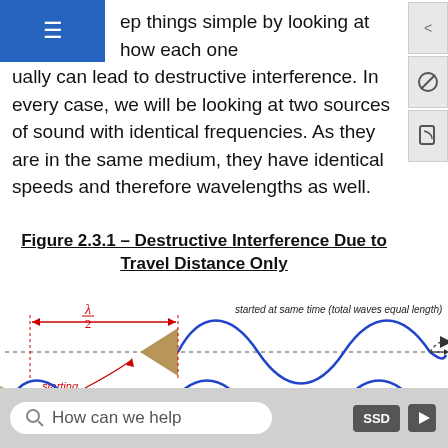keep things simple by looking at how each one individually can lead to destructive interference. In every case, we will be looking at two sources of sound with identical frequencies. As they are in the same medium, they have identical speeds and therefore wavelengths as well.
Figure 2.3.1 – Destructive Interference Due to Travel Distance Only
[Figure (illustration): Diagram showing two sound waves (blue sinusoidal curves) traveling horizontally. The top wave starts at the same time (total waves equal length) and the bottom wave started at same phase but from a position offset by λ/2. A red double-headed arrow labeled λ/2 shows the starting separation. Two tan/brown triangles (arrow heads) point left indicating wave direction. Dotted horizontal lines show the zero axis of each wave. Labels in italic: 'started at same time (total waves equal length)', 'started at same phase', 'starting separation'.]
How can we help